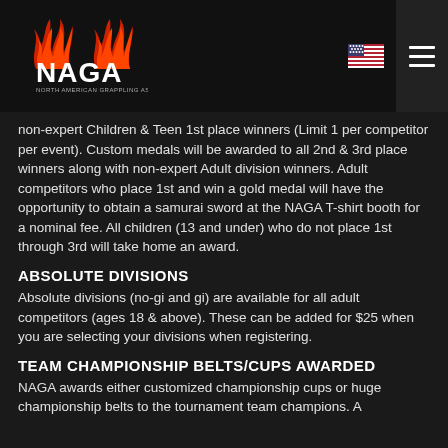NAGA - North American Grappling Association
non-expert Children & Teen 1st place winners (Limit 1 per competitor per event). Custom medals will be awarded to all 2nd & 3rd place winners along with non-expert Adult division winners. Adult competitors who place 1st and win a gold medal will have the opportunity to obtain a samurai sword at the NAGA T-shirt booth for a nominal fee. All children (13 and under) who do not place 1st through 3rd will take home an award.
ABSOLUTE DIVISIONS
Absolute divisions (no-gi and gi) are available for all adult competitors (ages 18 & above). These can be added for $25 when you are selecting your divisions when registering.
TEAM CHAMPIONSHIP BELTS/CUPS AWARDED
NAGA awards either customized championship cups or huge championship belts to the tournament team champions. A